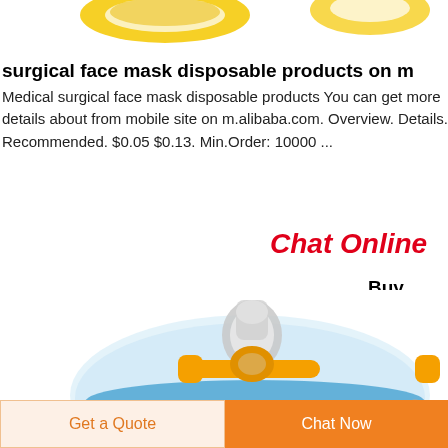[Figure (photo): Top portion of a yellow oxygen mask or medical device with clear tubing visible at the top of the page]
surgical face mask disposable products on m
Medical surgical face mask disposable products You can get more details about from mobile site on m.alibaba.com. Overview. Details. Recommended. $0.05 $0.13. Min.Order: 10000 ...
Chat Online
Buy Medical
[Figure (photo): Medical oxygen mask with yellow connector/port and clear dome, blue cushion seal, shown from above]
Get a Quote
Chat Now